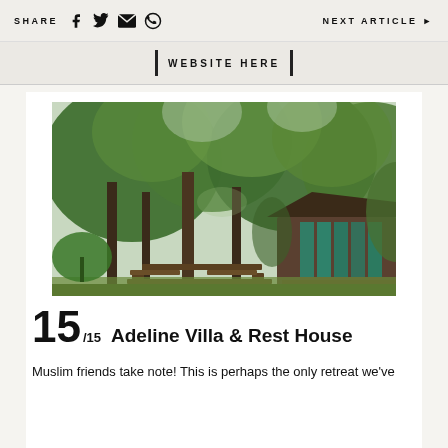SHARE  [facebook] [twitter] [email] [whatsapp]   NEXT ARTICLE ▶
WEBSITE HERE
[Figure (photo): Jungle retreat with wooden stilt house partially visible on right, surrounded by dense tropical green trees and vegetation; rustic wooden bench and table in foreground on grass clearing.]
15 /15  Adeline Villa & Rest House
Muslim friends take note! This is perhaps the only retreat we've